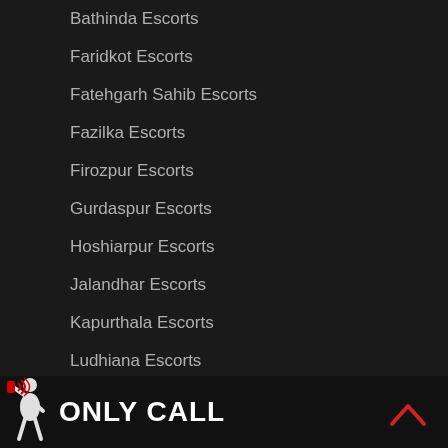Bathinda Escorts
Faridkot Escorts
Fatehgarh Sahib Escorts
Fazilka Escorts
Firozpur Escorts
Gurdaspur Escorts
Hoshiarpur Escorts
Jalandhar Escorts
Kapurthala Escorts
Ludhiana Escorts
Mansa Escorts
Moga Escorts
Pathankot Escorts
[Figure (logo): ONLY CALL logo with a figure person holding a phone with signal waves, white text on black background]
[Figure (other): Scroll to top arrow chevron in red]